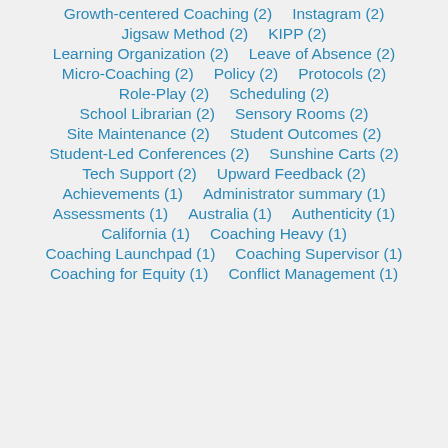Growth-centered Coaching (2)
Instagram (2)
Jigsaw Method (2)
KIPP (2)
Learning Organization (2)
Leave of Absence (2)
Micro-Coaching (2)
Policy (2)
Protocols (2)
Role-Play (2)
Scheduling (2)
School Librarian (2)
Sensory Rooms (2)
Site Maintenance (2)
Student Outcomes (2)
Student-Led Conferences (2)
Sunshine Carts (2)
Tech Support (2)
Upward Feedback (2)
Achievements (1)
Administrator summary (1)
Assessments (1)
Australia (1)
Authenticity (1)
California (1)
Coaching Heavy (1)
Coaching Launchpad (1)
Coaching Supervisor (1)
Coaching for Equity (1)
Conflict Management (1)